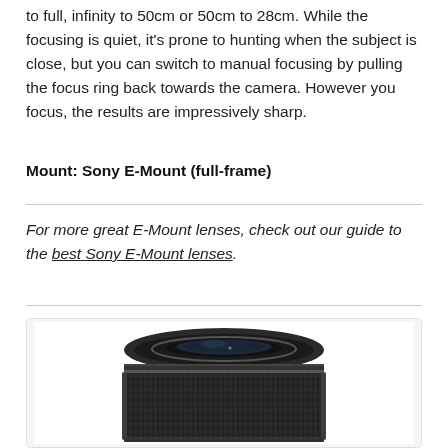to full, infinity to 50cm or 50cm to 28cm. While the focusing is quiet, it's prone to hunting when the subject is close, but you can switch to manual focusing by pulling the focus ring back towards the camera. However you focus, the results are impressively sharp.
Mount: Sony E-Mount (full-frame)
For more great E-Mount lenses, check out our guide to the best Sony E-Mount lenses.
[Figure (photo): A black camera lens (Sony E-Mount) photographed from slightly above, showing the front element and textured focusing ring barrel, on a white background.]